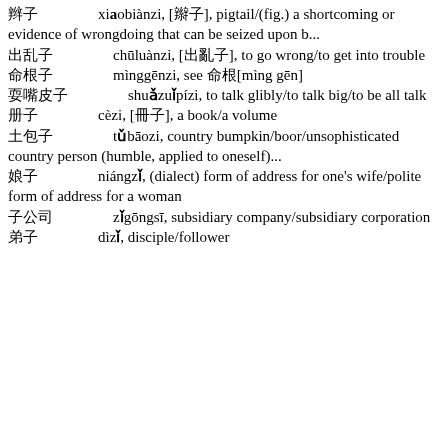辫子 xiāobiànzi, [辮子], pigtail/(fig.) a shortcoming or evidence of wrongdoing that can be seized upon b...
出乱子 chūluànzi, [出亂子], to go wrong/to get into trouble
命根子 mìnggēnzi, see 命根[mìng gēn]
耍嘴皮子 shuǎzuǐpízi, to talk glibly/to talk big/to be all talk
册子 cèzi, [冊子], a book/a volume
土包子 tǔbāozi, country bumpkin/boor/unsophisticated country person (humble, applied to oneself)...
娘子 niángzǐ, (dialect) form of address for one's wife/polite form of address for a woman
子公司 zǐgōngsī, subsidiary company/subsidiary corporation
弟子 dìzǐ, disciple/follower